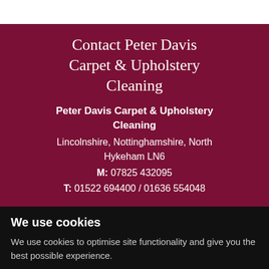Contact Peter Davis Carpet & Upholstery Cleaning
Peter Davis Carpet & Upholstery Cleaning
Lincolnshire, Nottinghamshire, North Hykeham LN6
M: 07825 432095
T: 01522 694400 / 01636 554048
We use cookies
We use cookies to optimise site functionality and give you the best possible experience.
I agree   Change my preferences